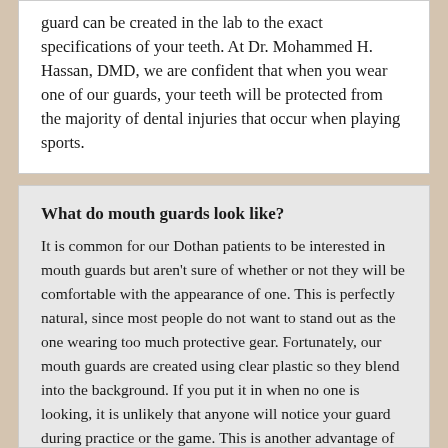guard can be created in the lab to the exact specifications of your teeth. At Dr. Mohammed H. Hassan, DMD, we are confident that when you wear one of our guards, your teeth will be protected from the majority of dental injuries that occur when playing sports.
What do mouth guards look like?
It is common for our Dothan patients to be interested in mouth guards but aren't sure of whether or not they will be comfortable with the appearance of one. This is perfectly natural, since most people do not want to stand out as the one wearing too much protective gear. Fortunately, our mouth guards are created using clear plastic so they blend into the background. If you put it in when no one is looking, it is unlikely that anyone will notice your guard during practice or the game. This is another advantage of visiting our 36305 dental office